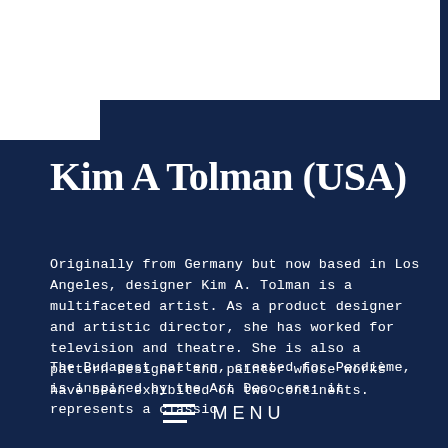[Figure (illustration): White angular shape cutout at the top of the page against dark navy background]
Kim A Tolman (USA)
Originally from Germany but now based in Los Angeles, designer Kim A. Tolman is a multifaceted artist. As a product designer and artistic director, she has worked for television and theatre. She is also a pattern designer and painter whose works have been exhibited on two continents.
The Budapest pattern, created for Perdième, is inspired by the Art Deco era: it represents a classic
MENU